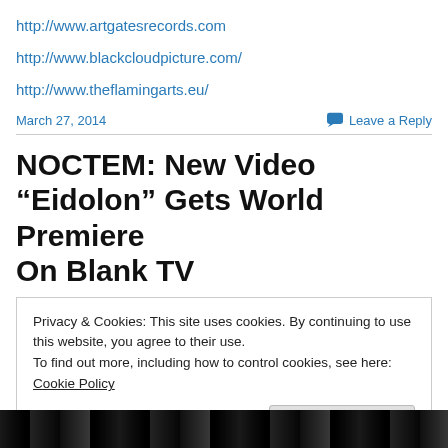http://www.artgatesrecords.com
http://www.blackcloudpicture.com/
http://www.theflamingarts.eu/
March 27, 2014    Leave a Reply
NOCTEM: New Video “Eidolon” Gets World Premiere On Blank TV
Privacy & Cookies: This site uses cookies. By continuing to use this website, you agree to their use.
To find out more, including how to control cookies, see here: Cookie Policy
Close and accept
[Figure (photo): Black and white photo strip at bottom of page]